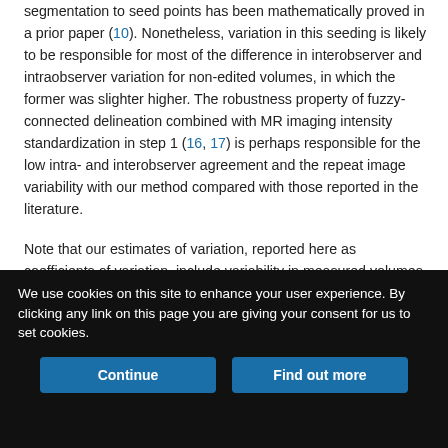segmentation to seed points has been mathematically proved in a prior paper (10). Nonetheless, variation in this seeding is likely to be responsible for most of the difference in interobserver and intraobserver variation for non-edited volumes, in which the former was slighter higher. The robustness property of fuzzy-connected delineation combined with MR imaging intensity standardization in step 1 (16, 17) is perhaps responsible for the low intra- and interobserver agreement and the repeat image variability with our method compared with those reported in the literature.
Note that our estimates of variation, reported here as coefficients of variation, include variability in measured volumes from all sources. Variation due to patient orientation in the machine was covered in repeat images studies in different head positions. In this study, the
We use cookies on this site to enhance your user experience. By clicking any link on this page you are giving your consent for us to set cookies.